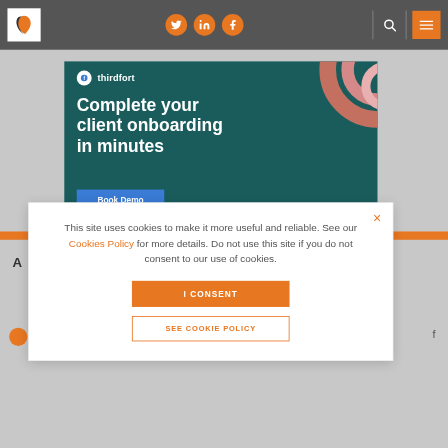[Figure (screenshot): Website navigation bar with logo (orange and dark leaf shapes on white background), three social media icon circles (Twitter, LinkedIn, Facebook) in orange, a search icon, and an orange hamburger menu button, all on a dark gray background.]
[Figure (screenshot): Thirdfort advertisement banner on dark teal background. Shows Thirdfort logo/brand name, headline text 'Complete your client onboarding in minutes', a 'Book Demo' blue button, and decorative pink/coral concentric circles in top right corner.]
This site uses cookies to make it more useful and reliable. See our Cookies Policy for more details. Do not use this site if you do not consent to our use of cookies.
I CONSENT
SEE COOKIE POLICY